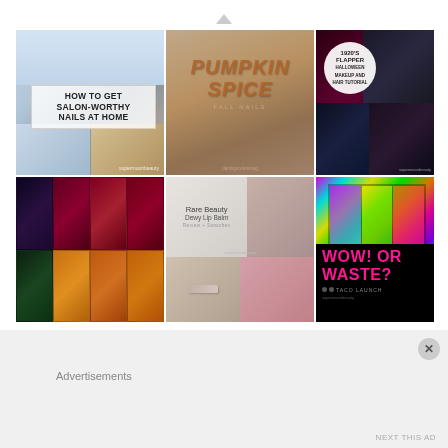[Figure (infographic): 3x2 grid of beauty/nail/makeup blog post thumbnail images: (1) nail tutorial image with text overlay 'HOW TO GET SALON-WORTHY NAILS AT HOME', (2) orange glittery nails with 'PUMPKIN SPICE' text, (3) 1920s Flapper Halloween makeup tutorial collage, (4) gel nail polish color swatches in dark and warm tones, (5) Rare Beauty Dewy Lip Balm review collage, (6) holographic eyeshadow palette with 'WOW! OR WASTE? TACO LAUNCH' text]
Advertisements